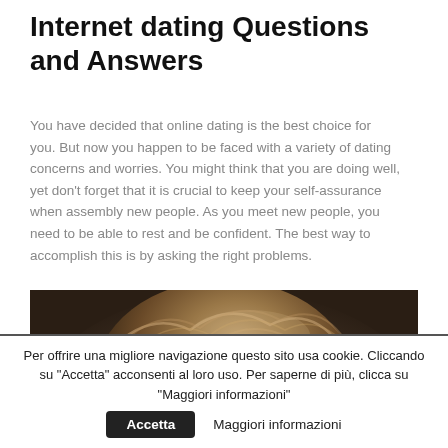Internet dating Questions and Answers
You have decided that online dating is the best choice for you. But now you happen to be faced with a variety of dating concerns and worries. You might think that you are doing well, yet don't forget that it is crucial to keep your self-assurance when assembly new people. As you meet new people, you need to be able to rest and be confident. The best way to accomplish this is by asking the right problems.
[Figure (photo): Close-up photo of a person's hair, brown/auburn tones, dark background]
Per offrire una migliore navigazione questo sito usa cookie. Cliccando su "Accetta" acconsenti al loro uso. Per saperne di più, clicca su "Maggiori informazioni"